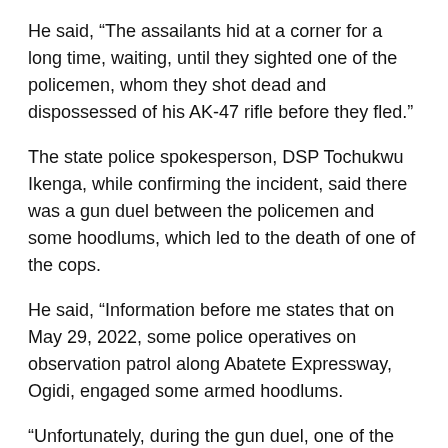He said, “The assailants hid at a corner for a long time, waiting, until they sighted one of the policemen, whom they shot dead and dispossessed of his AK-47 rifle before they fled.”
The state police spokesperson, DSP Tochukwu Ikenga, while confirming the incident, said there was a gun duel between the policemen and some hoodlums, which led to the death of one of the cops.
He said, “Information before me states that on May 29, 2022, some police operatives on observation patrol along Abatete Expressway, Ogidi, engaged some armed hoodlums.
“Unfortunately, during the gun duel, one of the police operatives was fatally wounded and due to the superior fire of the police, the gunmen fled the scene.”